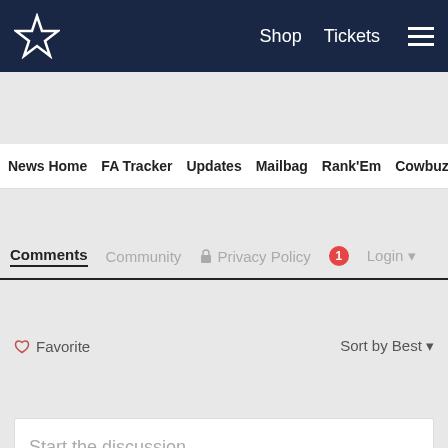Dallas Cowboys - Shop | Tickets | Navigation
News Home  FA Tracker  Updates  Mailbag  Rank'Em  Cowbuz
Comments  Community  Privacy Policy  1  Login
♡ Favorite  Sort by Best
Start the discussion...
LOG IN WITH
[Figure (infographic): Social login icons: Disqus (blue), Facebook (dark blue), Twitter (light blue), Google (red)]
OR SIGN UP WITH DISQUS ?
Name
[Figure (infographic): Bottom social share icons: Facebook, Twitter, Email, Chain/Link]